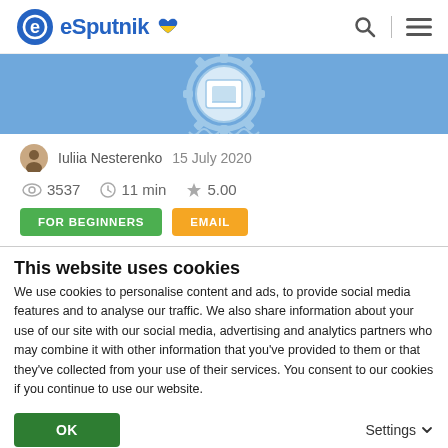eSputnik
[Figure (illustration): Gear/badge illustration on blue banner background]
Iuliia Nesterenko  15 July 2020
3537  11 min  5.00
FOR BEGINNERS  EMAIL
This website uses cookies
We use cookies to personalise content and ads, to provide social media features and to analyse our traffic. We also share information about your use of our site with our social media, advertising and analytics partners who may combine it with other information that you've provided to them or that they've collected from your use of their services. You consent to our cookies if you continue to use our website.
OK  Settings